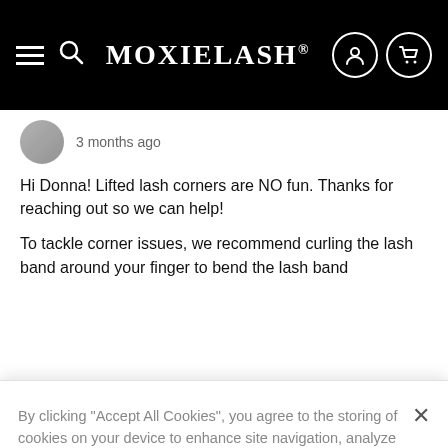[Figure (screenshot): MoxieLash website navigation bar with hamburger menu, search icon, MOXIELASH® brand name, user icon and cart icon on black background]
3 months ago
Hi Donna! Lifted lash corners are NO fun. Thanks for reaching out so we can help!
To tackle corner issues, we recommend curling the lash band around your finger to bend the lash band
By clicking “Accept All Cookies”, you agree to the storing of cookies on your device to enhance site navigation, analyze site usage, and assist in our marketing efforts.
Cookies Settings
Reject All
Accept All Cookies